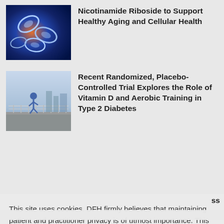[Figure (photo): Abstract blue and orange microscopic cell image]
Nicotinamide Riboside to Support Healthy Aging and Cellular Health
[Figure (photo): Person running on a bridge/walkway outdoors]
Recent Randomized, Placebo-Controlled Trial Explores the Role of Vitamin D and Aerobic Training in Type 2 Diabetes
This site uses cookies. DFH firmly believes that maintaining patient and practitioner privacy is of utmost importance. This principle extends to you and all visitors of our websites.  Learn more
OK